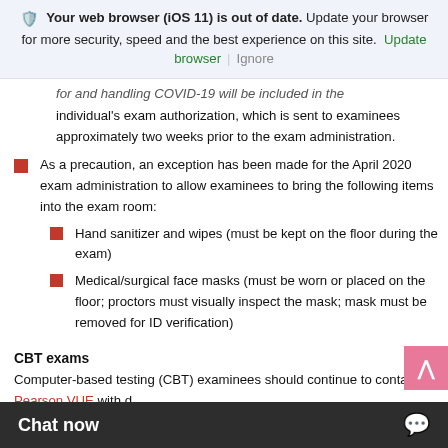[Figure (screenshot): Browser warning banner: 'Your web browser (iOS 11) is out of date. Update your browser for more security, speed and the best experience on this site. Update browser | Ignore']
for and handling COVID-19 will be included in the individual's exam authorization, which is sent to examinees approximately two weeks prior to the exam administration.
As a precaution, an exception has been made for the April 2020 exam administration to allow examinees to bring the following items into the exam room:
Hand sanitizer and wipes (must be kept on the floor during the exam)
Medical/surgical face masks (must be worn or placed on the floor; proctors must visually inspect the mask; mask must be removed for ID verification)
CBT exams
Computer-based testing (CBT) examinees should continue to contact Pearson VUE with d…